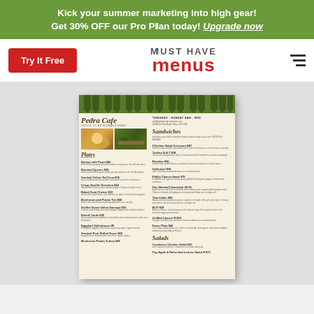Kick your summer marketing into high gear! Get 30% OFF our Pro Plan today! Upgrade now
MUST HAVE menus
Try It Free
[Figure (screenshot): Preview of a restaurant menu for Pedra Cafe with green bunting flags at top, featuring sections for Plates, Sandwiches, and Salads on a cream/beige background]